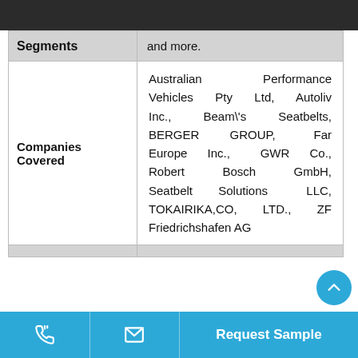|  |  |
| --- | --- |
| Segments | and more. |
| Companies Covered | Australian Performance Vehicles Pty Ltd, Autoliv Inc., Beam\'s Seatbelts, BERGER GROUP, Far Europe Inc., GWR Co., Robert Bosch GmbH, Seatbelt Solutions LLC, TOKAIRIKA,CO, LTD., ZF Friedrichshafen AG |
|  |  |
Request Sample